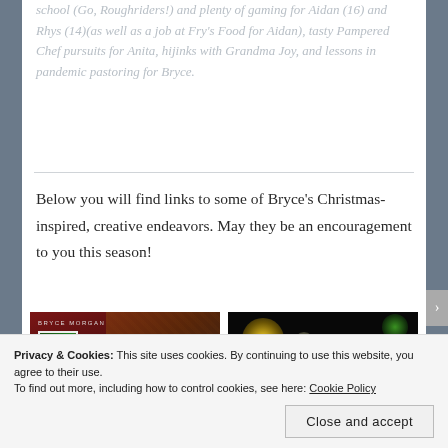school (Go, Roughriders!) and plenty of gaming for Aidan (16) and Rhys (14)(as well as a job at Fry's Food for Aidan), tasty Pampered Chef pursuits for Anita, hijinks with Grandma Joy, and lessons in pandemic pastoring for Bryce.
Below you will find links to some of Bryce's Christmas-inspired, creative endeavors. May they be an encouragement to you this season!
[Figure (photo): Book cover image for 'The More The Story' by Bryce Morgan with Christmas/fireplace imagery and a URL link]
[Figure (photo): Dark image with bokeh lights and text: 'The King has come! Hear angels' anthems raised!' with URL https://youtu.be/cZug2ydu84]
Privacy & Cookies: This site uses cookies. By continuing to use this website, you agree to their use.
To find out more, including how to control cookies, see here: Cookie Policy
Close and accept